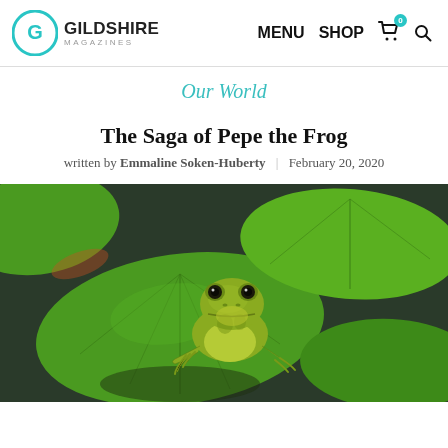Gildshire Magazines | MENU SHOP 0 [search]
Our World
The Saga of Pepe the Frog
written by Emmaline Soken-Huberty | February 20, 2020
[Figure (photo): A green frog sitting on large lily pads in a pond, photographed close-up. The frog is yellowish-green, looking toward the camera, surrounded by bright green lily pads. Background shows dark water and more lily pads.]